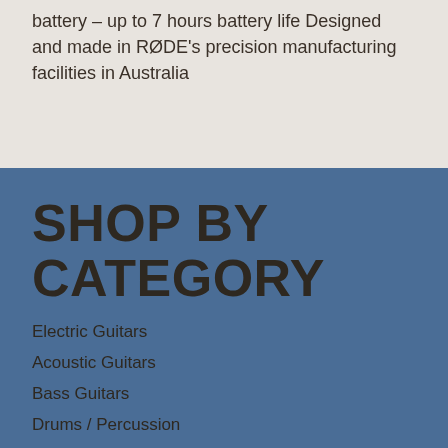battery – up to 7 hours battery life Designed and made in RØDE's precision manufacturing facilities in Australia
SHOP BY CATEGORY
Electric Guitars
Acoustic Guitars
Bass Guitars
Drums / Percussion
Pro Audio
Keyboards
Microphones
Accessories